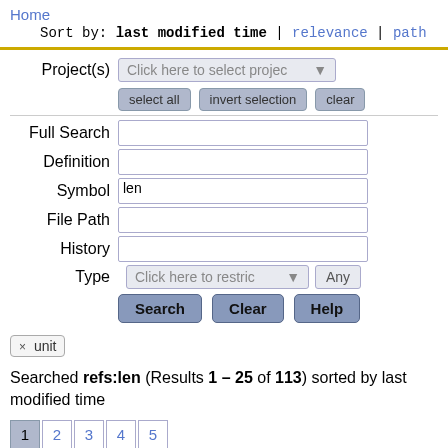Home
Sort by: last modified time | relevance | path
Project(s) Click here to select projec▼
select all   invert selection   clear
Full Search
Definition
Symbol  len
File Path
History
Type  Click here to restric▼  Any
Search  Clear  Help
× unit
Searched refs:len (Results 1 – 25 of 113) sorted by last modified time
1 2 3 4 5